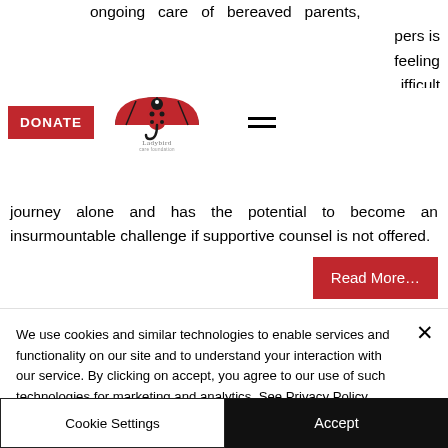ongoing care of bereaved parents, pers is feeling ifficult journey alone and has the potential to become an insurmountable challenge if supportive counsel is not offered.
[Figure (logo): Ladybird Care Foundation logo with ladybird under umbrella]
[Figure (other): DONATE red button and hamburger menu icon]
[Figure (other): Read More... red button]
[Figure (other): Red banner section with sun/ladybird icon]
We use cookies and similar technologies to enable services and functionality on our site and to understand your interaction with our service. By clicking on accept, you agree to our use of such technologies for marketing and analytics. See Privacy Policy